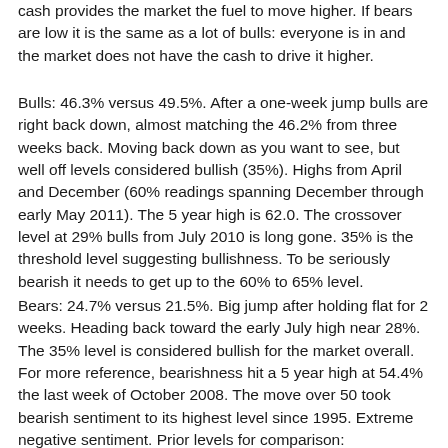cash provides the market the fuel to move higher. If bears are low it is the same as a lot of bulls: everyone is in and the market does not have the cash to drive it higher.
Bulls: 46.3% versus 49.5%. After a one-week jump bulls are right back down, almost matching the 46.2% from three weeks back. Moving back down as you want to see, but well off levels considered bullish (35%). Highs from April and December (60% readings spanning December through early May 2011). The 5 year high is 62.0. The crossover level at 29% bulls from July 2010 is long gone. 35% is the threshold level suggesting bullishness. To be seriously bearish it needs to get up to the 60% to 65% level.
Bears: 24.7% versus 21.5%. Big jump after holding flat for 2 weeks. Heading back toward the early July high near 28%. The 35% level is considered bullish for the market overall. For more reference, bearishness hit a 5 year high at 54.4% the last week of October 2008. The move over 50 took bearish sentiment to its highest level since 1995. Extreme negative sentiment. Prior levels for comparison: Bearishness peaked at 37.4% in September 2007. It topped the June 2006 peak (36%) on the top run. That January decline all the